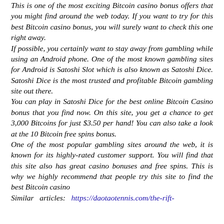This is one of the most exciting Bitcoin casino bonus offers that you might find around the web today. If you want to try for this best Bitcoin casino bonus, you will surely want to check this one right away.
If possible, you certainly want to stay away from gambling while using an Android phone. One of the most known gambling sites for Android is Satoshi Slot which is also known as Satoshi Dice. Satoshi Dice is the most trusted and profitable Bitcoin gambling site out there.
You can play in Satoshi Dice for the best online Bitcoin Casino bonus that you find now. On this site, you get a chance to get 3,000 Bitcoins for just $3.50 per hand! You can also take a look at the 10 Bitcoin free spins bonus.
One of the most popular gambling sites around the web, it is known for its highly-rated customer support. You will find that this site also has great casino bonuses and free spins. This is why we highly recommend that people try this site to find the best Bitcoin casino
Similar articles: https://daotaotennis.com/the-rift-